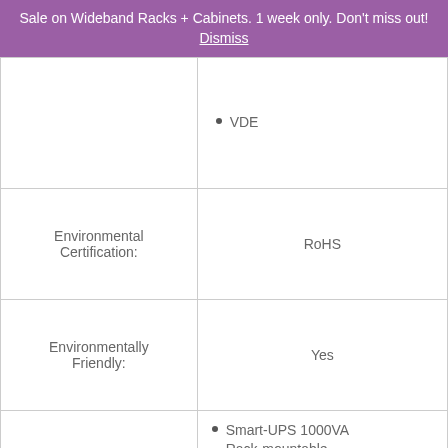Sale on Wideband Racks + Cabinets. 1 week only. Don't miss out! Dismiss
|  | VDE |
| Environmental Certification: | RoHS |
| Environmentally Friendly: | Yes |
|  | Smart-UPS 1000VA Rack-mountable UPS
Software CD
Documentation CD
Installation Guide |